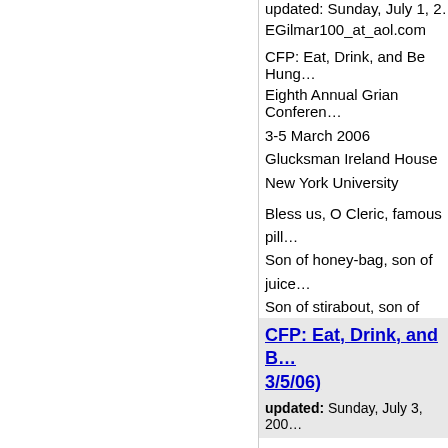EGilmar100_at_aol.com
CFP: Eat, Drink, and Be Hung...
Eighth Annual Grian Conferen...
3-5 March 2006
Glucksman Ireland House
New York University
Bless us, O Cleric, famous pill...
Son of honey-bag, son of juice...
Son of stirabout, son of porrio...
Son of smooth clustering crea...
Kuno Meyer)
CFP: Eat, Drink, and B... 3/5/06)
updated: Sunday, July 3, 200...